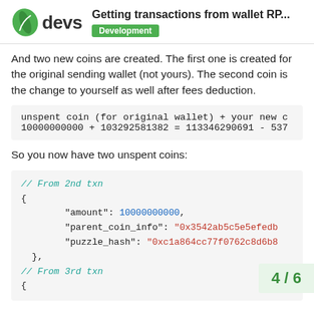devs — Getting transactions from wallet RP... Development
And two new coins are created. The first one is created for the original sending wallet (not yours). The second coin is the change to yourself as well after fees deduction.
unspent coin (for original wallet) + your new c
10000000000 + 103292581382 = 113346290691 - 537
So you now have two unspent coins:
// From 2nd txn
{
    "amount": 10000000000,
    "parent_coin_info": "0x3542ab5c5e5efedb
    "puzzle_hash": "0xc1a864cc77f0762c8d6b8
},
// From 3rd txn
{